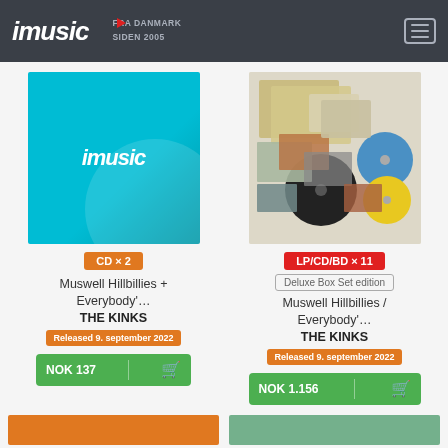imusic FRA DANMARK SIDEN 2005
[Figure (logo): imusic logo placeholder - blue square with imusic text in white italic]
CD × 2
Muswell Hillbillies + Everybody'…
THE KINKS
Released 9. september 2022
NOK 137
[Figure (photo): The Kinks Muswell Hillbillies Deluxe Box Set product photo showing multiple vinyl records, CDs, booklets in various colors]
LP/CD/BD × 11
Deluxe Box Set edition
Muswell Hillbillies / Everybody'…
THE KINKS
Released 9. september 2022
NOK 1.156